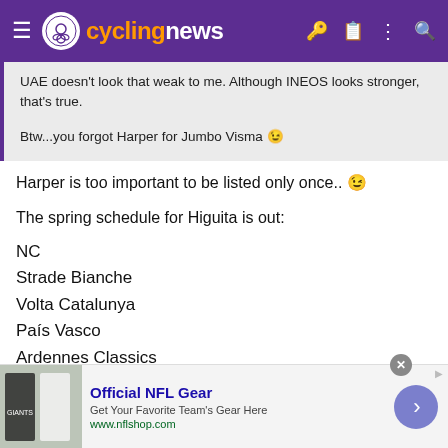cyclingnews
UAE doesn't look that weak to me. Although INEOS looks stronger, that's true.
Btw...you forgot Harper for Jumbo Visma 😉
Harper is too important to be listed only once.. 😉
The spring schedule for Higuita is out:
NC
Strade Bianche
Volta Catalunya
País Vasco
Ardennes Classics
The vuelta as big target later
[Figure (infographic): Advertisement banner for Official NFL Gear from nflshop.com]